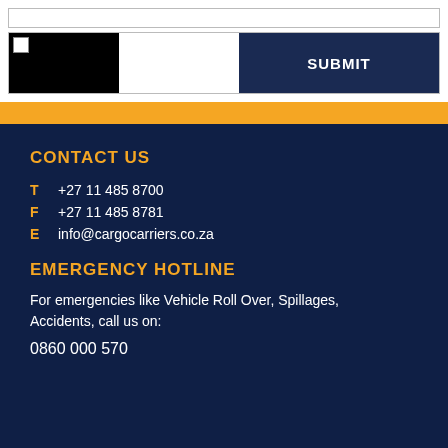[Figure (screenshot): Input field / form area at top with a CAPTCHA image box on the left (broken image placeholder) and a dark navy SUBMIT button on the right]
CONTACT US
T   +27 11 485 8700
F   +27 11 485 8781
E   info@cargocarriers.co.za
EMERGENCY HOTLINE
For emergencies like Vehicle Roll Over, Spillages, Accidents, call us on:
0860 000 570